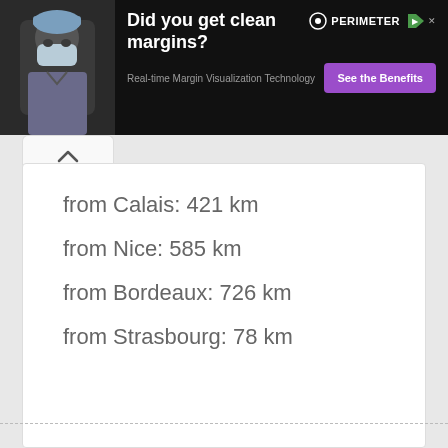[Figure (photo): Advertisement banner: surgeon in mask on black background. Text: 'Did you get clean margins? Real-time Margin Visualization Technology' with a purple 'See the Benefits' button and PERIMETER logo.]
from Calais: 421 km
from Nice: 585 km
from Bordeaux: 726 km
from Strasbourg: 78 km